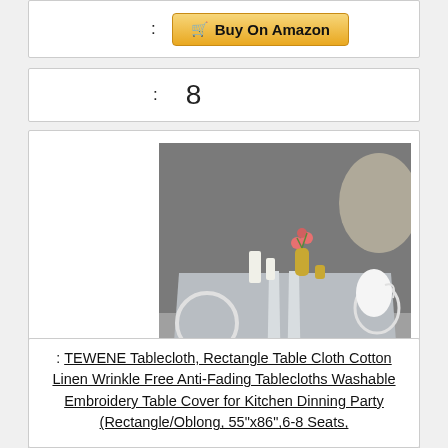: [Buy On Amazon button]
: 8
[Figure (photo): A gray tablecloth with white stripe embroidery and tassel fringe, draped over a rectangular table with decorative items and chairs, photographed against a concrete wall.]
: TEWENE Tablecloth, Rectangle Table Cloth Cotton Linen Wrinkle Free Anti-Fading Tablecloths Washable Embroidery Table Cover for Kitchen Dinning Party (Rectangle/Oblong, 55"x86",6-8 Seats,